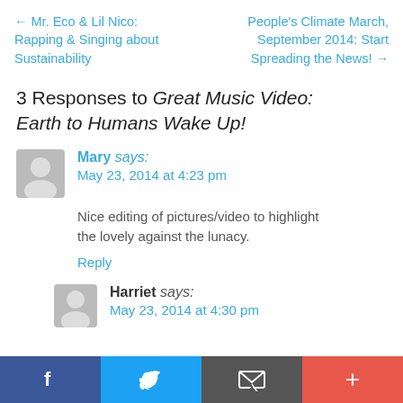← Mr. Eco & Lil Nico: Rapping & Singing about Sustainability
People's Climate March, September 2014: Start Spreading the News! →
3 Responses to Great Music Video: Earth to Humans Wake Up!
Mary says: May 23, 2014 at 4:23 pm
Nice editing of pictures/video to highlight the lovely against the lunacy.
Reply
Harriet says: May 23, 2014 at 4:30 pm